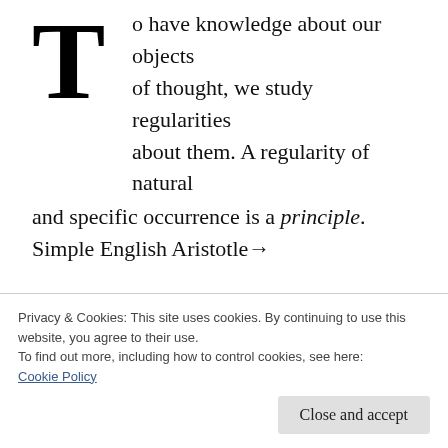To have knowledge about our objects of thought, we study regularities about them. A regularity of natural and specific occurrence is a principle. Simple English Aristotle→
Chapter 2
First, we decide if we want to find (a) the
Privacy & Cookies: This site uses cookies. By continuing to use this website, you agree to their use. To find out more, including how to control cookies, see here: Cookie Policy